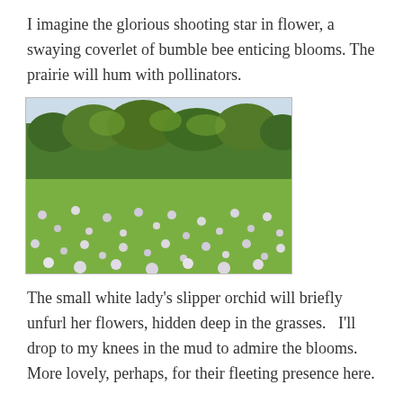I imagine the glorious shooting star in flower, a swaying coverlet of bumble bee enticing blooms. The prairie will hum with pollinators.
[Figure (photo): A meadow field covered with small white and light purple flowers in the foreground, with a dense green tree line and overcast sky in the background.]
The small white lady's slipper orchid will briefly unfurl her flowers, hidden deep in the grasses.   I'll drop to my knees in the mud to admire the blooms. More lovely, perhaps, for their fleeting presence here.